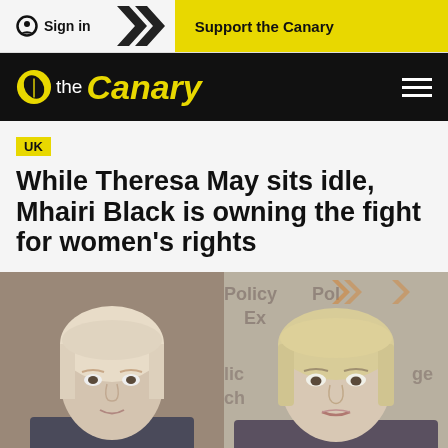Sign in | Support the Canary
[Figure (logo): The Canary logo — yellow canary icon with 'the' in white and 'Canary' in yellow italic on black background]
UK
While Theresa May sits idle, Mhairi Black is owning the fight for women's rights
[Figure (photo): Split photo: left side shows Mhairi Black, a young blonde woman with hair pulled back, looking directly at camera against a grey background; right side shows Theresa May, an older blonde woman in front of a Policy Exchange backdrop with orange chevron logos]